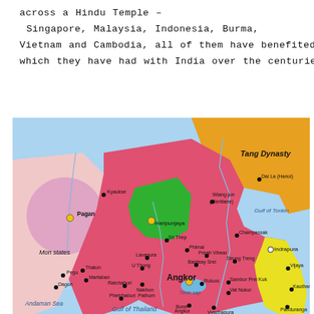across a Hindu Temple – Singapore, Malaysia, Indonesia, Burma, Vietnam and Cambodia, all of them have benefited from contacts which they have had with India over the centuries.
[Figure (map): Historical map of Southeast Asia showing the Khmer Empire (Angkor) in pink/red, Haripunjaya in green, Tang Dynasty in orange, Pagan and Mon states in light pink, and Champa coast in yellow. Major cities and geographic features labeled including Angkor, Pagan, Haripunjaya, Gulf of Tonkin, Gulf of Thailand, Andaman Sea, and numerous historical cities.]